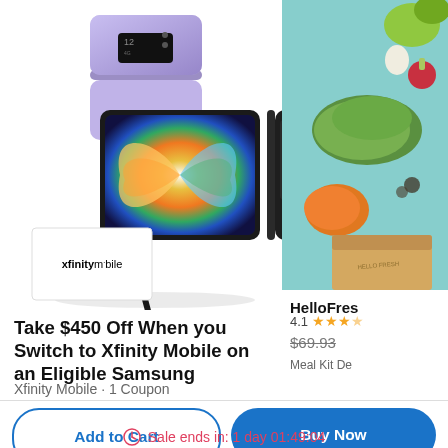[Figure (photo): Samsung Galaxy Z Fold4 and Galaxy Z Flip4 phones displayed with an S Pen stylus, alongside Xfinity Mobile logo box]
[Figure (photo): HelloFresh meal kit ingredients on a blue background including vegetables and a delivery box, partially visible on the right side]
Take $450 Off When you Switch to Xfinity Mobile on an Eligible Samsung
Xfinity Mobile · 1 Coupon
HelloFres
4.1
$69.93
Meal Kit De
Add to Cart
Buy Now
Sale ends in: 1 day 01:49:04